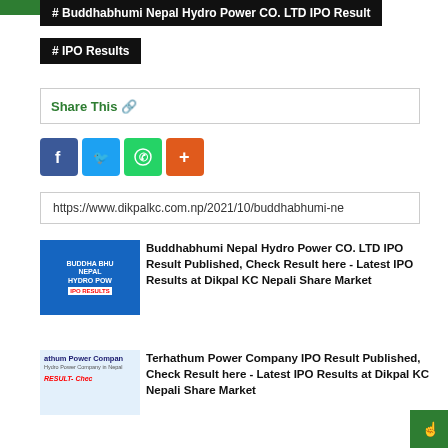# Buddhabhumi Nepal Hydro Power CO. LTD IPO Result
# IPO Results
Share This
[Figure (other): Social share icons: Facebook, Twitter, WhatsApp, More (+)]
https://www.dikpalkc.com.np/2021/10/buddhabhumi-ne
[Figure (illustration): Buddhabhumi Nepal Hydro Power thumbnail with blue background and IPO RESULTS label]
Buddhabhumi Nepal Hydro Power CO. LTD IPO Result Published, Check Result here - Latest IPO Results at Dikpal KC Nepali Share Market
[Figure (illustration): Terhathum Power Company thumbnail with light blue background and RESULT-Check label]
Terhathum Power Company IPO Result Published, Check Result here - Latest IPO Results at Dikpal KC Nepali Share Market